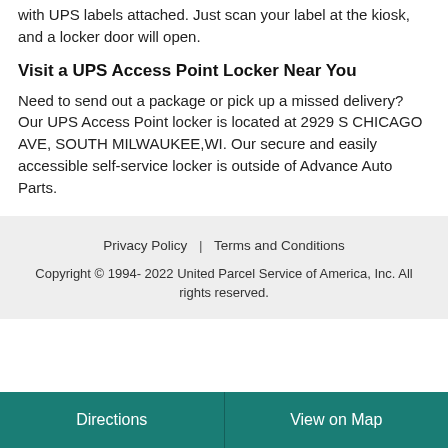with UPS labels attached. Just scan your label at the kiosk, and a locker door will open.
Visit a UPS Access Point Locker Near You
Need to send out a package or pick up a missed delivery? Our UPS Access Point locker is located at 2929 S CHICAGO AVE, SOUTH MILWAUKEE,WI. Our secure and easily accessible self-service locker is outside of Advance Auto Parts.
Privacy Policy | Terms and Conditions
Copyright © 1994- 2022 United Parcel Service of America, Inc. All rights reserved.
Directions
View on Map